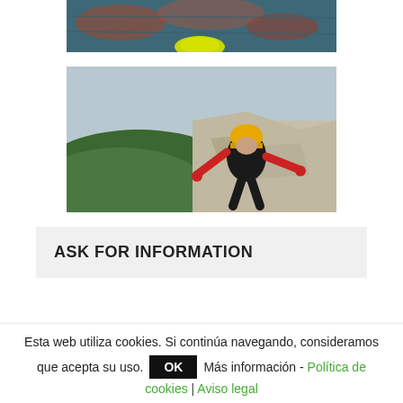[Figure (photo): Kayak on water, partially cropped at top of page]
[Figure (photo): Rock climber wearing yellow helmet and red jacket on rocky cliff face with green valley below]
ASK FOR INFORMATION
Esta web utiliza cookies. Si continúa navegando, consideramos que acepta su uso. OK Más información - Política de cookies | Aviso legal